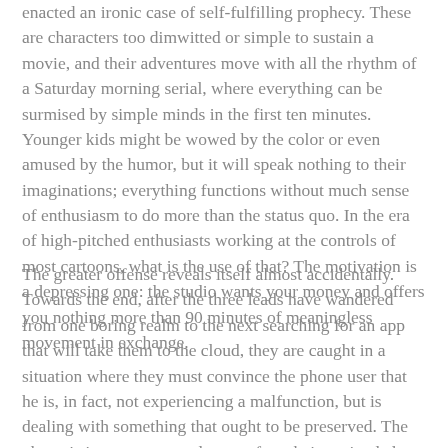enacted an ironic case of self-fulfilling prophecy. These are characters too dimwitted or simple to sustain a movie, and their adventures move with all the rhythm of a Saturday morning serial, where everything can be surmised by simple minds in the first ten minutes. Younger kids might be wowed by the color or even amused by the humor, but it will speak nothing to their imaginations; everything functions without much sense of enthusiasm to do more than the status quo. In the era of high-pitched enthusiasts working at the controls of most cartoons, what is the use of that? The motivation is a depressing one: the studio wants your money and offers you nothing more than 90 minutes of meaningless movement in exchange.
The greater offense reveals itself almost accidentally. Towards the end, after the three leads have wandered from one boring realm to the next searching for an app that will take them to the cloud, they are caught in a situation where they must convince the phone user that he is, in fact, not experiencing a malfunction, but is dealing with something that ought to be preserved. The phone is just mere seconds away from being wiped clean, causing a disconnection in the...